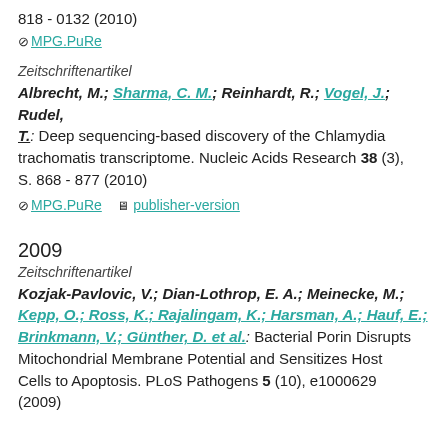818 - 0132 (2010)
MPG.PuRe
Zeitschriftenartikel
Albrecht, M.; Sharma, C. M.; Reinhardt, R.; Vogel, J.; Rudel, T.: Deep sequencing-based discovery of the Chlamydia trachomatis transcriptome. Nucleic Acids Research 38 (3), S. 868 - 877 (2010)
MPG.PuRe   publisher-version
2009
Zeitschriftenartikel
Kozjak-Pavlovic, V.; Dian-Lothrop, E. A.; Meinecke, M.; Kepp, O.; Ross, K.; Rajalingam, K.; Harsman, A.; Hauf, E.; Brinkmann, V.; Günther, D. et al.: Bacterial Porin Disrupts Mitochondrial Membrane Potential and Sensitizes Host Cells to Apoptosis. PLoS Pathogens 5 (10), e1000629 (2009)